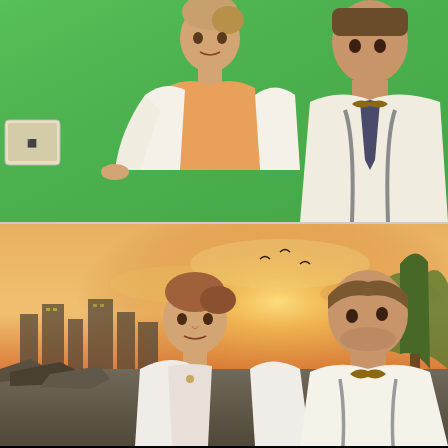[Figure (photo): Behind-the-scenes photo showing a woman in a white cardigan and orange blouse and a man in a white shirt with bow tie and suspenders sitting in front of a green screen background. A camera monitor is visible at the left edge.]
[Figure (photo): Composited/final shot of the same woman and man in the same costumes, now shown against a digitally rendered background featuring a dramatic sunset sky with orange and yellow tones, a city skyline, trees, and rubble — replacing the green screen with VFX background.]